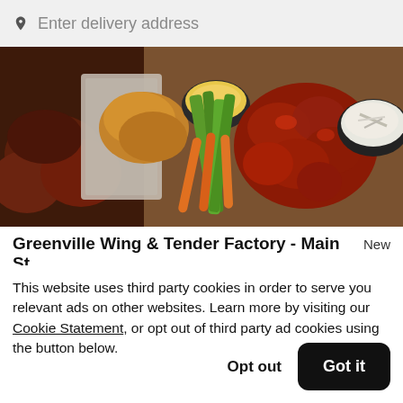Enter delivery address
[Figure (photo): Food photo showing chicken wings, celery sticks, carrots, dipping sauce, spicy glazed chicken pieces, and coleslaw on a wooden board]
Greenville Wing & Tender Factory - Main St  New
This website uses third party cookies in order to serve you relevant ads on other websites. Learn more by visiting our Cookie Statement, or opt out of third party ad cookies using the button below.
Opt out   Got it